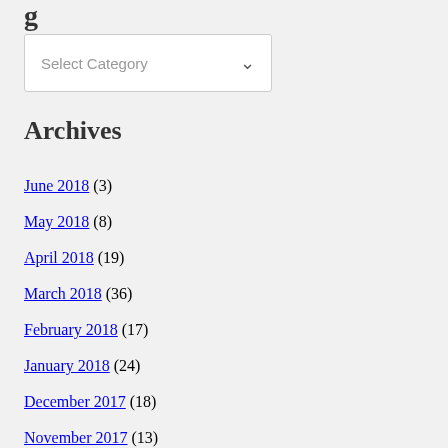Archives
June 2018 (3)
May 2018 (8)
April 2018 (19)
March 2018 (36)
February 2018 (17)
January 2018 (24)
December 2017 (18)
November 2017 (13)
October 2017 (16)
September 2017 (16)